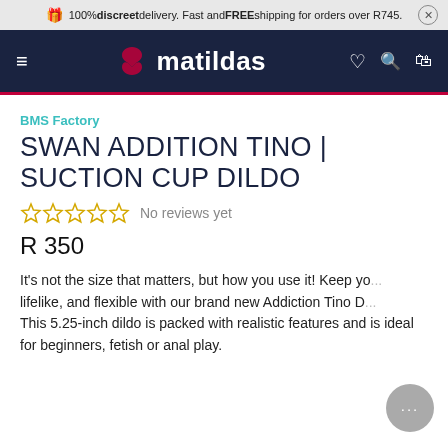100% discreet delivery. Fast and FREE shipping for orders over R745.
[Figure (logo): Matildas website header with logo (an infinity/hourglass heart symbol in red-pink) and the word matildas in white, on dark navy background. Hamburger menu icon on left, heart/search/bag icons on right.]
BMS Factory
SWAN ADDITION TINO | SUCTION CUP DILDO
No reviews yet
R 350
It's not the size that matters, but how you use it! Keep yo... lifelike, and flexible with our brand new Addiction Tino D... This 5.25-inch dildo is packed with realistic features and is ideal for beginners, fetish or anal play.